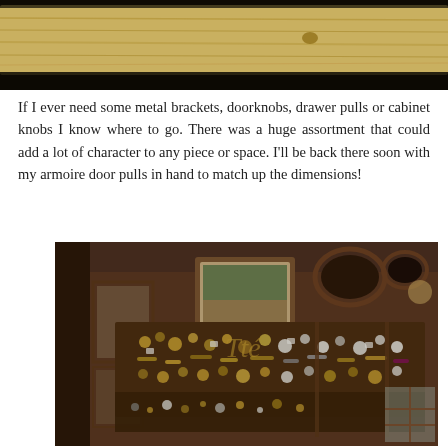[Figure (photo): Close-up photo of a wooden ceiling or beam with a yellowish, rough texture and dark background at the top of the page.]
If I ever need some metal brackets, doorknobs, drawer pulls or cabinet knobs I know where to go. There was a huge assortment that could add a lot of character to any piece or space. I'll be back there soon with my armoire door pulls in hand to match up the dimensions!
[Figure (photo): Interior of an antique or hardware store showing a wall densely covered with metal hardware items including doorknobs, drawer pulls, brackets, and various metal fittings hanging on display boards. Framed pictures and oval mirrors are visible on the dark wooden walls in the background.]